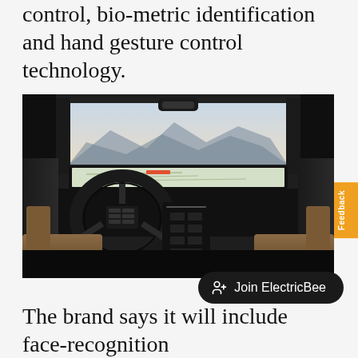control, bio-metric identification and hand gesture control technology.
[Figure (photo): Car interior photograph showing a futuristic electric vehicle dashboard with a large panoramic windshield display showing a map, a steering wheel with digital controls, and tan leather seats.]
The brand says it will include face-recognition